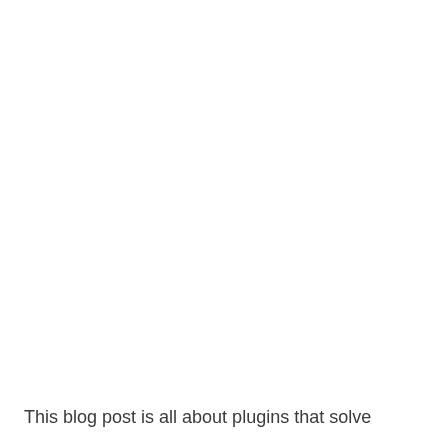This blog post is all about plugins that solve